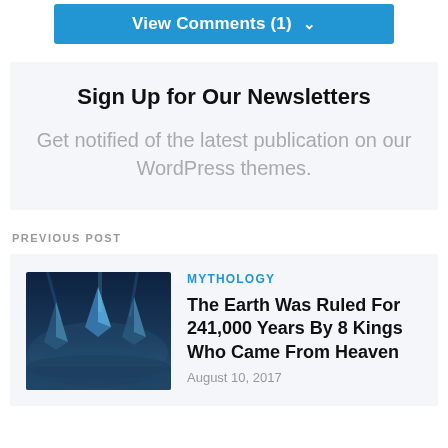[Figure (other): Blue button with white text reading 'View Comments (1)' with a chevron/dropdown arrow]
Sign Up for Our Newsletters
Get notified of the latest publication on our WordPress themes.
PREVIOUS POST
[Figure (photo): Dark blue atmospheric fantasy/mythology image showing angular structures or crystals in a misty environment]
MYTHOLOGY
The Earth Was Ruled For 241,000 Years By 8 Kings Who Came From Heaven
August 10, 2017